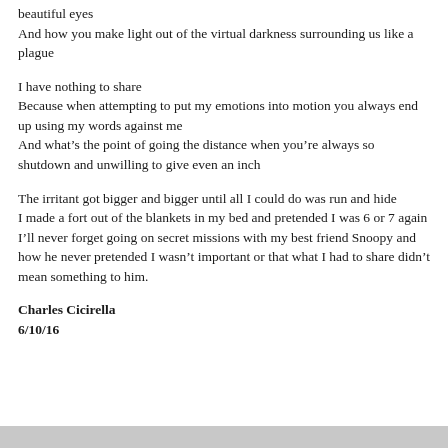beautiful eyes
And how you make light out of the virtual darkness surrounding us like a plague
I have nothing to share
Because when attempting to put my emotions into motion you always end up using my words against me
And what’s the point of going the distance when you’re always so shutdown and unwilling to give even an inch
The irritant got bigger and bigger until all I could do was run and hide
I made a fort out of the blankets in my bed and pretended I was 6 or 7 again
I’ll never forget going on secret missions with my best friend Snoopy and how he never pretended I wasn’t important or that what I had to share didn’t mean something to him.
Charles Cicirella
6/10/16